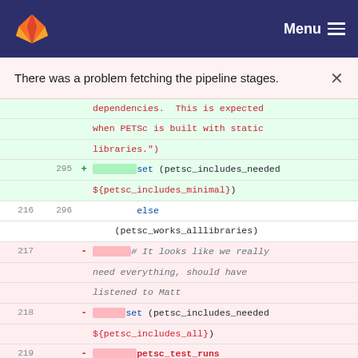GitLab — Menu
There was a problem fetching the pipeline stages.
[Figure (screenshot): Git diff view showing CMake code. Lines 295–220 showing additions (green) and deletions (red) of PETSc include configuration code including set, else, petsc_test_runs, and if statements.]